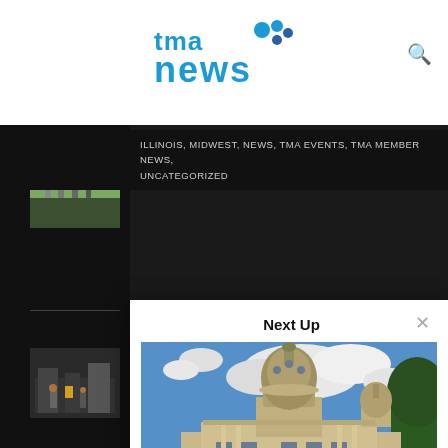tma news
ILLINOIS, MIDWEST, NEWS, TMA EVENTS, TMA MEMBER NEWS, UNCATEGORIZED
[Figure (screenshot): TMA News website screenshot showing a 'Next Up' modal overlay with an article preview. The modal shows a photo of the Illinois State Capitol building under a blue sky with clouds, followed by the article title 'TMA's 2022 Candidate Survey Identifies Illinois Pro-Manufacturing Office Seekers' and byline 'TMA Media • Jun 14'. The background shows the dark-themed TMA News website with sidebar thumbnail images and category navigation.]
Next Up
TMA's 2022 Candidate Survey Identifies Illinois Pro-Manufacturing Office Seekers
TMA Media • Jun 14
CATEG
2018